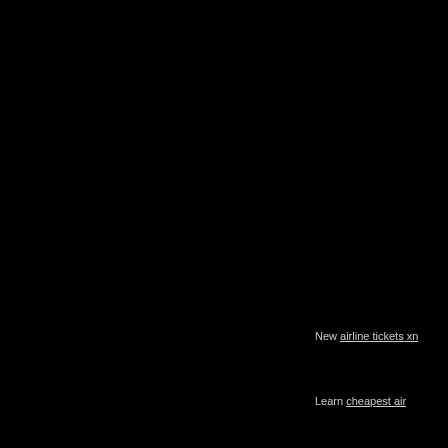New airline tickets xn
Learn cheapest air